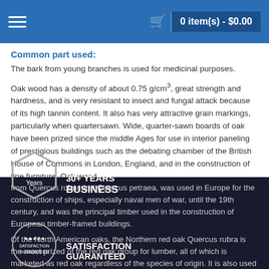0 item(s) - $0.00
Common part used:
The bark from young branches is used for medicinal purposes.
Oak wood has a density of about 0.75 g/cm³, great strength and hardness, and is very resistant to insect and fungal attack because of its high tannin content. It also has very attractive grain markings, particularly when quartersawn. Wide, quarter-sawn boards of oak have been prized since the middle Ages for use in interior paneling of prestigious buildings such as the debating chamber of the British House of Commons in London, England, and in the construction of fine furniture. Oak wood, from Quercus robur and Quercus petraea, was used in Europe for the construction of ships, especially naval men of war, until the 19th century, and was the principal timber used in the construction of European timber-framed buildings.
Of the North American oaks, the Northern red oak Quercus rubra is the most prized of the red oak group for lumber, all of which is marketed as red oak regardless of the species of origin. It is also used for to the open capillaries. One
[Figure (logo): +30 Years badge with hexagon shape]
[Figure (logo): Satisfaction Guaranteed circular badge with stars]